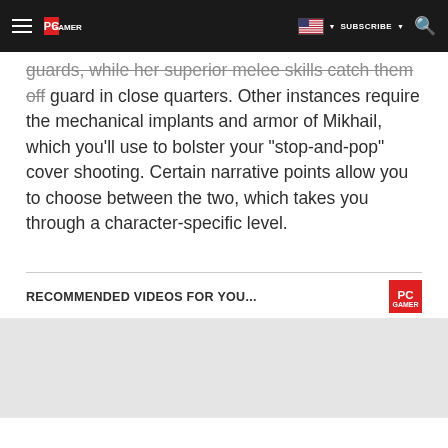PC GAMER — SUBSCRIBE
guards, while her superior melee skills catch them off guard in close quarters. Other instances require the mechanical implants and armor of Mikhail, which you'll use to bolster your “stop-and-pop” cover shooting. Certain narrative points allow you to choose between the two, which takes you through a character-specific level.
RECOMMENDED VIDEOS FOR YOU...
[Figure (other): Video player placeholder area with light grey background]